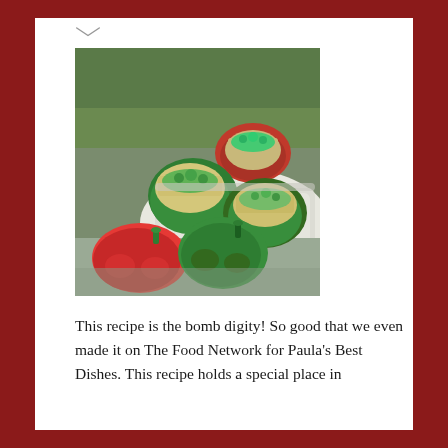[Figure (photo): Photograph of stuffed bell peppers on a tray — red, green peppers filled with a grain/meat mixture topped with fresh herbs, alongside whole uncut red and green bell peppers on a surface.]
This recipe is the bomb digity! So good that we even made it on The Food Network for Paula's Best Dishes. This recipe holds a special place in